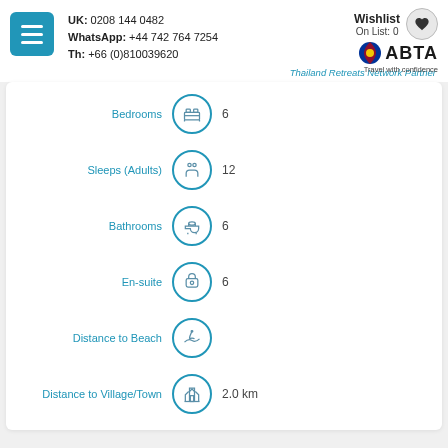UK: 0208 144 0482 | WhatsApp: +44 742 764 7254 | Th: +66 (0)810039620 | Wishlist On List: 0 | ABTA Travel with confidence
Thailand Retreats Network Partner
Bedrooms: 6
Sleeps (Adults): 12
Bathrooms: 6
En-suite: 6
Distance to Beach: (no value shown)
Distance to Village/Town: 2.0 km